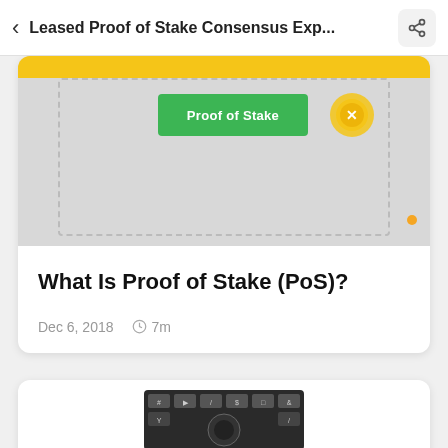< Leased Proof of Stake Consensus Exp...
[Figure (illustration): Partial card showing a green 'Proof of Stake' button and a yellow coin/token icon on a grey background with a yellow top bar and dashed border box]
What Is Proof of Stake (PoS)?
Dec 6, 2018  🕐 7m
[Figure (screenshot): Partial bottom card showing what appears to be a calculator or keyboard interface]